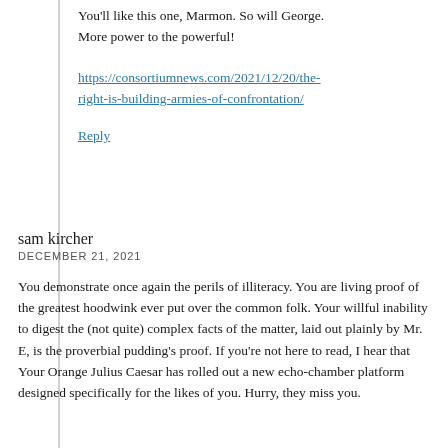You'll like this one, Marmon. So will George. More power to the powerful!
https://consortiumnews.com/2021/12/20/the-right-is-building-armies-of-confrontation/
Reply
sam kircher
DECEMBER 21, 2021
You demonstrate once again the perils of illiteracy. You are living proof of the greatest hoodwink ever put over the common folk. Your willful inability to digest the (not quite) complex facts of the matter, laid out plainly by Mr. E, is the proverbial pudding’s proof. If you’re not here to read, I hear that Your Orange Julius Caesar has rolled out a new echo-chamber platform designed specifically for the likes of you. Hurry, they miss you.